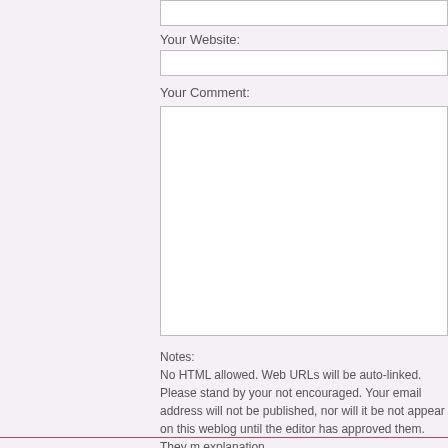Your Website:
Your Comment:
Notes:
No HTML allowed. Web URLs will be auto-linked. Please stand by your not encouraged. Your email address will not be published, nor will it be not appear on this weblog until the editor has approved them. They m explanation.